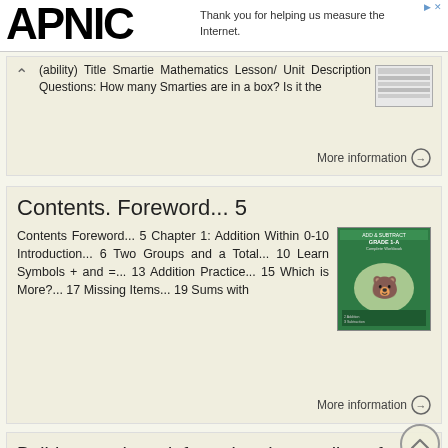APNIC | Thank you for helping us measure the Internet.
(ability) Title Smartie Mathematics Lesson/ Unit Description Questions: How many Smarties are in a box? Is it the
More information →
Contents. Foreword... 5
Contents Foreword... 5 Chapter 1: Addition Within 0-10 Introduction... 6 Two Groups and a Total... 10 Learn Symbols + and =... 13 Addition Practice... 15 Which is More?... 17 Missing Items... 19 Sums with
More information →
Build on students informal understanding of sharing and proportionality to develop